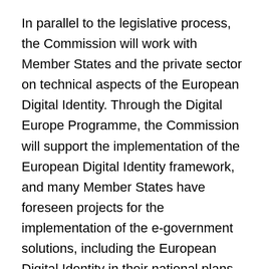In parallel to the legislative process, the Commission will work with Member States and the private sector on technical aspects of the European Digital Identity. Through the Digital Europe Programme, the Commission will support the implementation of the European Digital Identity framework, and many Member States have foreseen projects for the implementation of the e-government solutions, including the European Digital Identity in their national plans under the Recovery and Resilience Facility.
Background
The Commission's 2030 Digital Compass sets out a number of targets and milestones which the European Digital Identity will help achieve. For example, by 2030, all